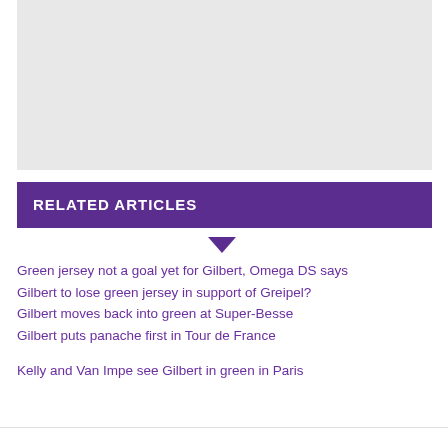[Figure (photo): Gray placeholder image block]
RELATED ARTICLES
Green jersey not a goal yet for Gilbert, Omega DS says
Gilbert to lose green jersey in support of Greipel?
Gilbert moves back into green at Super-Besse
Gilbert puts panache first in Tour de France
Kelly and Van Impe see Gilbert in green in Paris